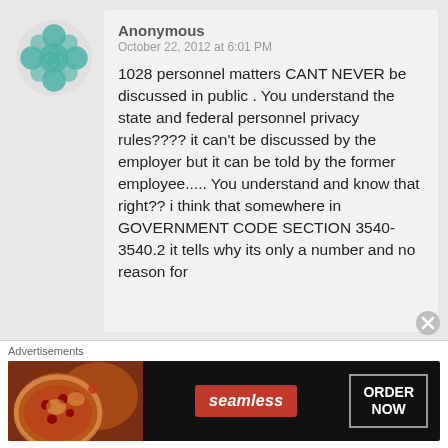[Figure (illustration): Anonymous user avatar icon — teal/green circular ornamental design with cross shape]
Anonymous
October 22, 2012 at 6:01 PM
1028 personnel matters CANT NEVER be discussed in public . You understand the state and federal personnel privacy rules???? it can't be discussed by the employer but it can be told by the former employee..... You understand and know that right?? i think that somewhere in GOVERNMENT CODE SECTION 3540-3540.2 it tells why its only a number and no reason for
Advertisements
[Figure (screenshot): Seamless food delivery advertisement banner with pizza image, red Seamless logo, and ORDER NOW button]